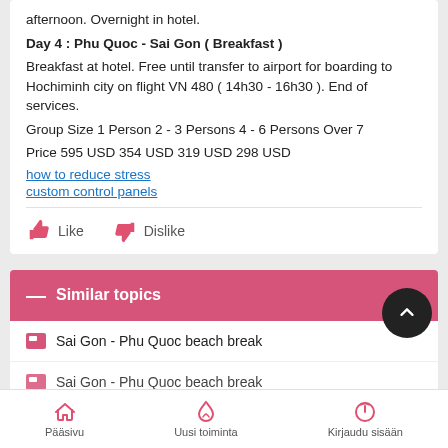afternoon. Overnight in hotel.
Day 4 : Phu Quoc - Sai Gon ( Breakfast )
Breakfast at hotel. Free until transfer to airport for boarding to Hochiminh city on flight VN 480 ( 14h30 - 16h30 ). End of services.
Group Size 1 Person 2 - 3 Persons 4 - 6 Persons Over 7
Price 595 USD 354 USD 319 USD 298 USD
how to reduce stress
custom control panels
Similar topics
Sai Gon - Phu Quoc beach break
Sai Gon - Phu Quoc beach break
Pääsivu  Uusi toiminta  Kirjaudu sisään